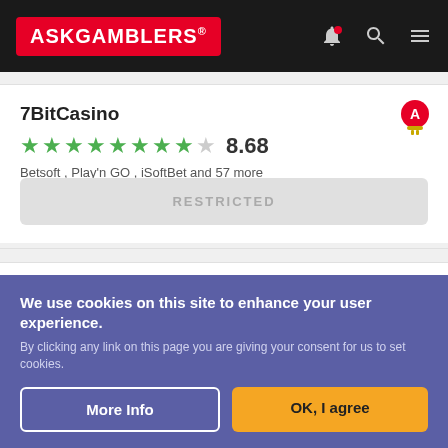ASKGAMBLERS
7BitCasino
8.68 — Betsoft , Play'n GO , iSoftBet and 57 more
RESTRICTED
ZenCasino
8.63
We use cookies on this site to enhance your user experience.
By clicking any link on this page you are giving your consent for us to set cookies.
More Info
OK, I agree